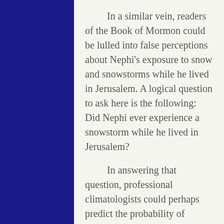In a similar vein, readers of the Book of Mormon could be lulled into false perceptions about Nephi's exposure to snow and snowstorms while he lived in Jerusalem. A logical question to ask here is the following: Did Nephi ever experience a snowstorm while he lived in Jerusalem?
In answering that question, professional climatologists could perhaps predict the probability of snowstorms having occurred during the years of Nephi's life in Jerusalem. They might be willing to undertake such probability research because they are undoubtedly aware that Jerusalem rather routinely does experience snow